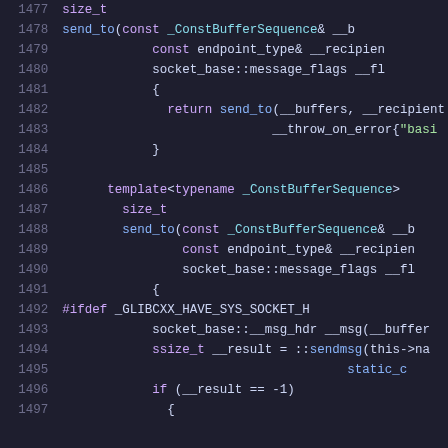[Figure (screenshot): Source code listing showing C++ socket send_to function implementations with line numbers 1477-1497, syntax highlighted on dark background.]